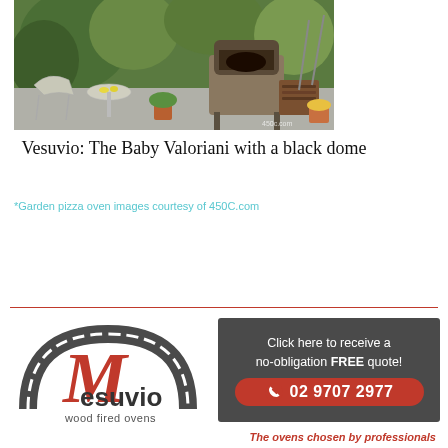[Figure (photo): Outdoor garden patio with a wood-fired pizza oven on a stand, patio chairs, plants, and firewood. Watermark '450c.com' visible in lower right.]
Vesuvio: The Baby Valoriani with a black dome
*Garden pizza oven images courtesy of 450C.com
[Figure (logo): Mesuvio wood fired ovens logo with red italic M, dark brick arch, and tagline 'wood fired ovens'. Adjacent dark grey banner with 'Click here to receive a no-obligation FREE quote!' and phone number '02 9707 2977' in a red pill button. Bottom tagline: 'The ovens chosen by professionals' in red italic.]